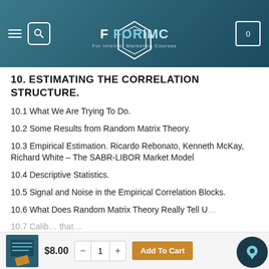FORIMC – For Internet Marketing Courses
10. ESTIMATING THE CORRELATION STRUCTURE.
10.1 What We Are Trying To Do.
10.2 Some Results from Random Matrix Theory.
10.3 Empirical Estimation. Ricardo Rebonato, Kenneth McKay, Richard White – The SABR-LIBOR Market Model
10.4 Descriptive Statistics.
10.5 Signal and Noise in the Empirical Correlation Blocks.
10.6 What Does Random Matrix Theory Really Tell U…
10.7 Calib… that…
$8.00   1   Add To Cart